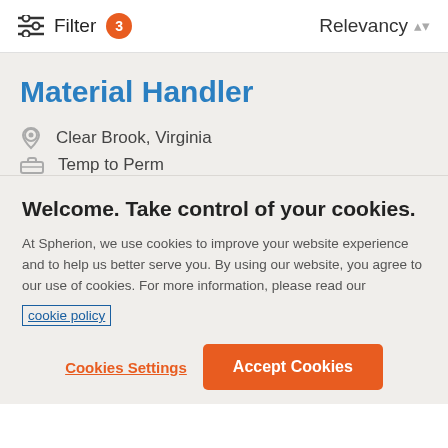Filter 3   Relevancy
Material Handler
Clear Brook, Virginia
Temp to Perm
Welcome. Take control of your cookies.
At Spherion, we use cookies to improve your website experience and to help us better serve you. By using our website, you agree to our use of cookies. For more information, please read our cookie policy
Cookies Settings
Accept Cookies